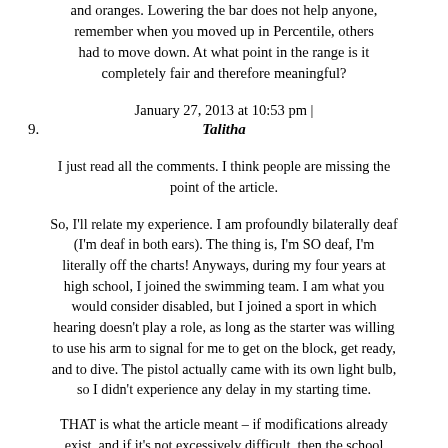and oranges. Lowering the bar does not help anyone, remember when you moved up in Percentile, others had to move down. At what point in the range is it completely fair and therefore meaningful?
January 27, 2013 at 10:53 pm |
9.	Talitha
I just read all the comments. I think people are missing the point of the article.
So, I'll relate my experience. I am profoundly bilaterally deaf (I'm deaf in both ears). The thing is, I'm SO deaf, I'm literally off the charts! Anyways, during my four years at high school, I joined the swimming team. I am what you would consider disabled, but I joined a sport in which hearing doesn't play a role, as long as the starter was willing to use his arm to signal for me to get on the block, get ready, and to dive. The pistol actually came with its own light bulb, so I didn't experience any delay in my starting time.
THAT is what the article meant – if modifications already exist, and if it's not excessively difficult, then the school should allow the disabled students the OPINION to join sports and other activities. The disabled students aren't going